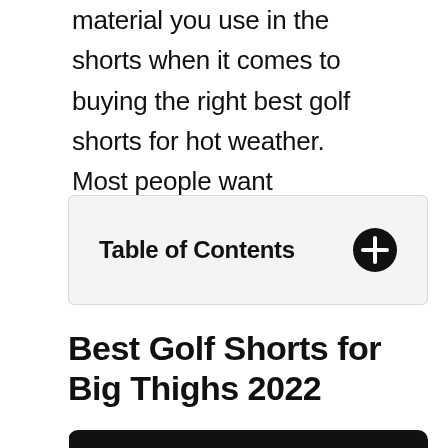material you use in the shorts when it comes to buying the right best golf shorts for hot weather. Most people want breathable, easy, and lasting stuff.
Table of Contents
Best Golf Shorts for Big Thighs 2022
| PRODUCT |
| --- |
| Nike Men's Flex Core Golf Shorts |